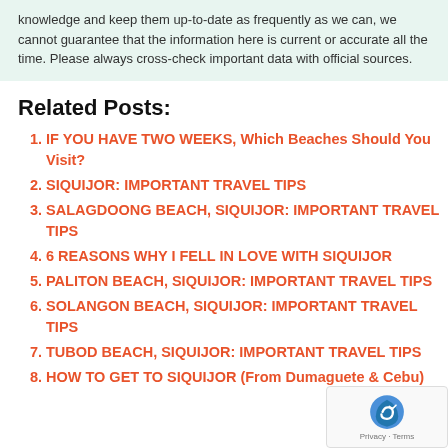knowledge and keep them up-to-date as frequently as we can, we cannot guarantee that the information here is current or accurate all the time. Please always cross-check important data with official sources.
Related Posts:
IF YOU HAVE TWO WEEKS, Which Beaches Should You Visit?
SIQUIJOR: IMPORTANT TRAVEL TIPS
SALAGDOONG BEACH, SIQUIJOR: IMPORTANT TRAVEL TIPS
6 REASONS WHY I FELL IN LOVE WITH SIQUIJOR
PALITON BEACH, SIQUIJOR: IMPORTANT TRAVEL TIPS
SOLANGON BEACH, SIQUIJOR: IMPORTANT TRAVEL TIPS
TUBOD BEACH, SIQUIJOR: IMPORTANT TRAVEL TIPS
HOW TO GET TO SIQUIJOR (From Dumaguete & Cebu)